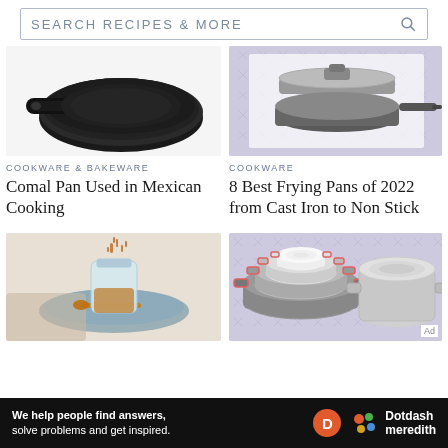[Figure (screenshot): Search bar with text SEARCH RECIPES & MORE and a magnifying glass icon]
[Figure (photo): Cast iron comal pan on white background]
COOKWARE & BAKEWARE
Comal Pan Used in Mexican Cooking
[Figure (illustration): Non-stick frying pan with lid on purple patterned background]
COOKWARE
8 Best Frying Pans of 2022 from Cast Iron to Non Stick
[Figure (photo): Glass jar with spice/spices being poured in, on a blue plate with a copper spoon]
[Figure (illustration): Stacked mixing bowls and a stainless steel pot on purple patterned background]
[Figure (screenshot): Ad banner: We help people find answers, solve problems and get inspired. Dotdash Meredith logo]